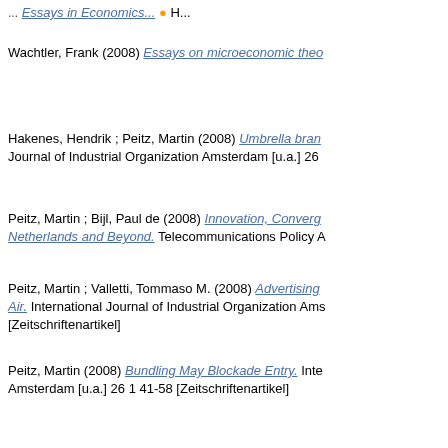Wachtler, Frank (2008) Essays on microeconomic theo...
Hakenes, Hendrik ; Peitz, Martin (2008) Umbrella bran... Journal of Industrial Organization Amsterdam [u.a.] 26
Peitz, Martin ; Bijl, Paul de (2008) Innovation, Converg... Netherlands and Beyond. Telecommunications Policy A
Peitz, Martin ; Valletti, Tommaso M. (2008) Advertising... Air. International Journal of Industrial Organization Ams... [Zeitschriftenartikel]
Peitz, Martin (2008) Bundling May Blockade Entry. Inte... Amsterdam [u.a.] 26 1 41-58 [Zeitschriftenartikel]
2007
Müller, Florian (2007) Essays on microeconomic found...